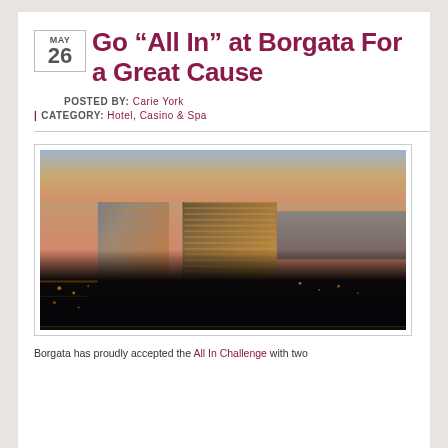Go "All In" at Borgata For a Great Cause
POSTED BY: Carie York
CATEGORY: Hotel, Casino & Spa
[Figure (photo): Aerial twilight/dusk photo of the Borgata Hotel Casino & Spa in Atlantic City, NJ, showing two tall illuminated glass towers against a colorful sunset sky with city lights below.]
Borgata has proudly accepted the All In Challenge with two